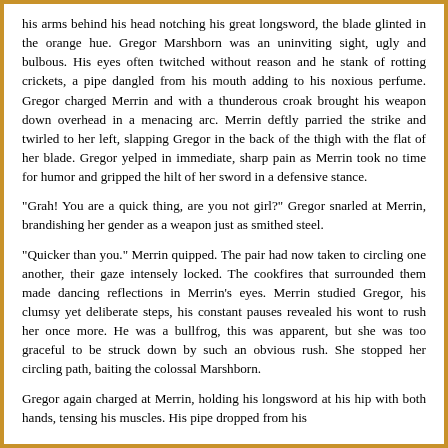his arms behind his head notching his great longsword, the blade glinted in the orange hue. Gregor Marshborn was an uninviting sight, ugly and bulbous. His eyes often twitched without reason and he stank of rotting crickets, a pipe dangled from his mouth adding to his noxious perfume. Gregor charged Merrin and with a thunderous croak brought his weapon down overhead in a menacing arc. Merrin deftly parried the strike and twirled to her left, slapping Gregor in the back of the thigh with the flat of her blade. Gregor yelped in immediate, sharp pain as Merrin took no time for humor and gripped the hilt of her sword in a defensive stance.
"Grah! You are a quick thing, are you not girl?" Gregor snarled at Merrin, brandishing her gender as a weapon just as smithed steel.
"Quicker than you." Merrin quipped. The pair had now taken to circling one another, their gaze intensely locked. The cookfires that surrounded them made dancing reflections in Merrin's eyes. Merrin studied Gregor, his clumsy yet deliberate steps, his constant pauses revealed his wont to rush her once more. He was a bullfrog, this was apparent, but she was too graceful to be struck down by such an obvious rush. She stopped her circling path, baiting the colossal Marshborn.
Gregor again charged at Merrin, holding his longsword at his hip with both hands, tensing his muscles. His pipe dropped from his